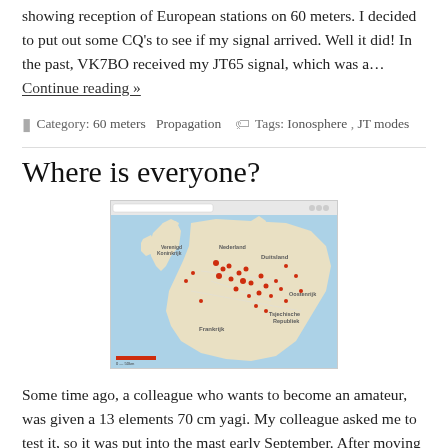showing reception of European stations on 60 meters. I decided to put out some CQ's to see if my signal arrived. Well it did! In the past, VK7BO received my JT65 signal, which was a… Continue reading »
Category: 60 meters  Propagation   Tags: Ionosphere ,  JT modes
Where is everyone?
[Figure (map): A Google Maps screenshot showing a map of Western Europe (Netherlands, Germany, France, Belgium, UK) with red map pins marking various amateur radio station locations.]
Some time ago, a colleague who wants to become an amateur, was given a 13 elements 70 cm yagi. My colleague asked me to test it, so it was put into the mast early September. After moving from the OTH